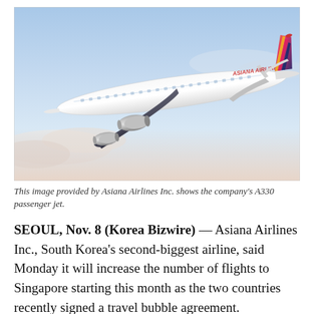[Figure (photo): Asiana Airlines A330 passenger jet in flight against a blue sky with clouds. The white aircraft has the distinctive Asiana Airlines livery with pink, yellow, and dark blue tail design.]
This image provided by Asiana Airlines Inc. shows the company's A330 passenger jet.
SEOUL, Nov. 8 (Korea Bizwire) — Asiana Airlines Inc., South Korea's second-biggest airline, said Monday it will increase the number of flights to Singapore starting this month as the two countries recently signed a travel bubble agreement.
A travel bubble refers to a quarantine-free travel partnership between two or more cities or countries with similar levels of